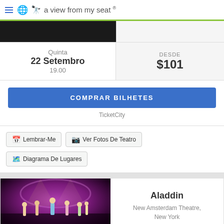a view from my seat
Quinta
22 Setembro
19.00
DESDE
$101
COMPRAR BILHETES
TicketCity
Lembrar-Me
Ver Fotos De Teatro
Diagrama De Lugares
[Figure (photo): Stage performance photo of Aladdin musical with performers in colorful costumes on stage with purple lighting]
Aladdin
New Amsterdam Theatre, New York